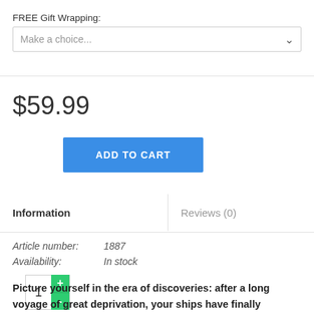FREE Gift Wrapping:
Make a choice...
$59.99
1 + - ADD TO CART
Information
Reviews (0)
Article number:   1887
Availability:        In stock
Picture yourself in the era of discoveries: after a long voyage of great deprivation, your ships have finally reached the coast of an uncharted island. You name the island Coton but soon realize you are not the only